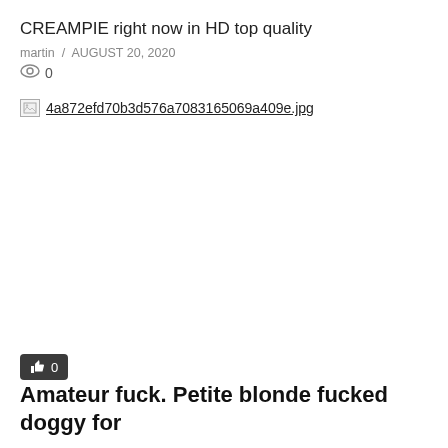CREAMPIE right now in HD top quality
martin / AUGUST 20, 2020
0
[Figure (photo): Broken image placeholder showing filename: 4a872efd70b3d576a7083165069a409e.jpg]
0
Amateur fuck. Petite blonde fucked doggy for